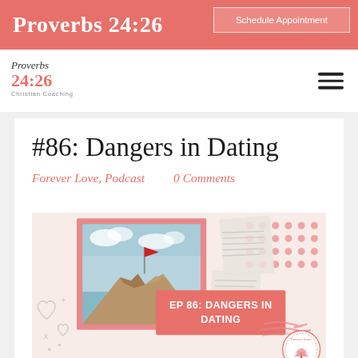Proverbs 24:26
Schedule Appointment
[Figure (logo): Proverbs 24:26 Christian Coaching logo with stylized text]
#86: Dangers in Dating
Forever Love, Podcast    0 Comments
[Figure (illustration): Podcast episode 86 cover art showing a red flag on a rocky mountain, decorative hearts, dots, text snippets, and a coral banner reading EP 86: DANGERS IN DATING with Forever Love branding]